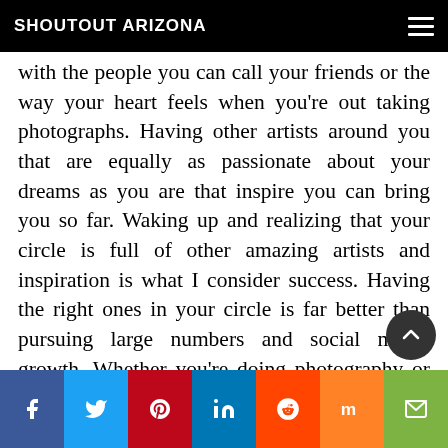SHOUTOUT ARIZONA
with the people you can call your friends or the way your heart feels when you're out taking photographs. Having other artists around you that are equally as passionate about your dreams as you are that inspire you can bring you so far. Waking up and realizing that your circle is full of other amazing artists and inspiration is what I consider success. Having the right ones in your circle is far better than pursuing large numbers and social media growth. Whether you're doing photography or creating art with a 9-5 job on the side or doing freelance, as long as you're getting up and doing the thing you are being successful on your craft. I'm not gonna
f  t  p  in  reddit  m  email